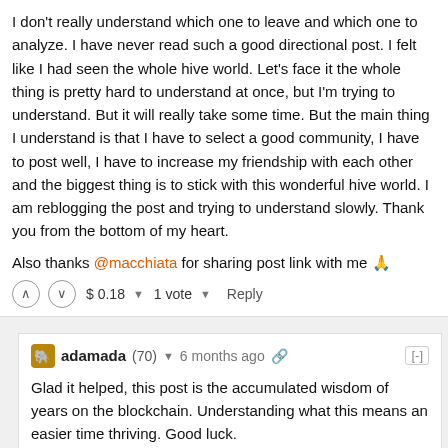I don't really understand which one to leave and which one to analyze. I have never read such a good directional post. I felt like I had seen the whole hive world. Let's face it the whole thing is pretty hard to understand at once, but I'm trying to understand. But it will really take some time. But the main thing I understand is that I have to select a good community, I have to post well, I have to increase my friendship with each other and the biggest thing is to stick with this wonderful hive world. I am reblogging the post and trying to understand slowly. Thank you from the bottom of my heart.
Also thanks @macchiata for sharing post link with me 🙏
$ 0.18  1 vote  Reply
adamada (70)  6 months ago  [-]
Glad it helped, this post is the accumulated wisdom of years on the blockchain. Understanding what this means an easier time thriving. Good luck.
$ 0.00  Reply
shopnilhasan (63)  6 months ago  [-]
Thank you so much ♥
$ 0.00  Reply